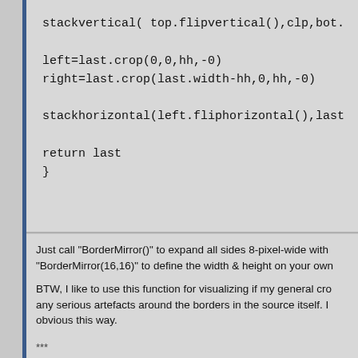stackvertical( top.flipvertical(),clp,bot.
left=last.crop(0,0,hh,-0)
right=last.crop(last.width-hh,0,hh,-0)
stackhorizontal(left.fliphorizontal(),last
return last
}
Just call "BorderMirror()" to expand all sides 8-pixel-wide with "BorderMirror(16,16)" to define the width & height on your own
BTW, I like to use this function for visualizing if my general cro any serious artefacts around the borders in the source itself. I obvious this way.
***
I think Dust uses 8-pixel cells internally. (But don't nail me dow
Then, I think you can get a pretty nice artefact reduction alrea instead of 4. Just in case you're in a hurry
In that case, make the 2 copies offset by 2 pixel horizontally + diagonal to each other.